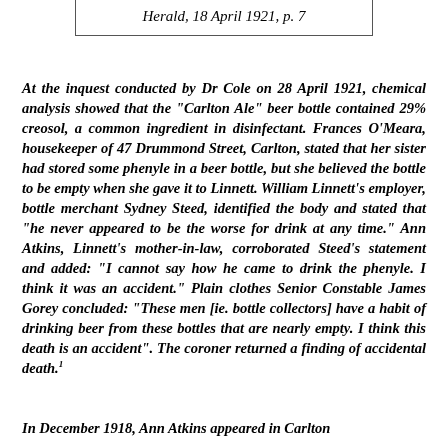Herald, 18 April 1921, p. 7
At the inquest conducted by Dr Cole on 28 April 1921, chemical analysis showed that the "Carlton Ale" beer bottle contained 29% creosol, a common ingredient in disinfectant. Frances O'Meara, housekeeper of 47 Drummond Street, Carlton, stated that her sister had stored some phenyle in a beer bottle, but she believed the bottle to be empty when she gave it to Linnett. William Linnett's employer, bottle merchant Sydney Steed, identified the body and stated that "he never appeared to be the worse for drink at any time." Ann Atkins, Linnett's mother-in-law, corroborated Steed's statement and added: "I cannot say how he came to drink the phenyle. I think it was an accident." Plain clothes Senior Constable James Gorey concluded: "These men [ie. bottle collectors] have a habit of drinking beer from these bottles that are nearly empty. I think this death is an accident". The coroner returned a finding of accidental death.¹
In December 1918, Ann Atkins appeared in Carlton